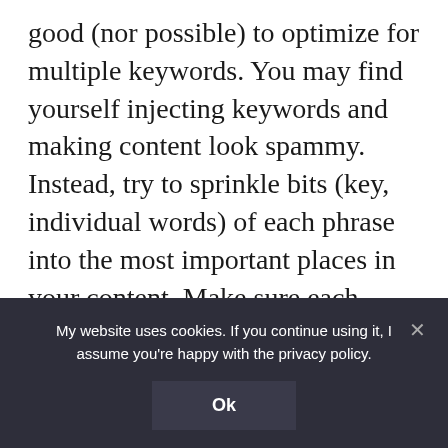good (nor possible) to optimize for multiple keywords. You may find yourself injecting keywords and making content look spammy. Instead, try to sprinkle bits (key, individual words) of each phrase into the most important places in your content. Make sure each keyword is directly relevant (often a synonym) of your main keyword.
This is exactly why I don't use this feature. Most of my secondary keywords include dates (e.g.
My website uses cookies. If you continue using it, I assume you're happy with the privacy policy.
Ok